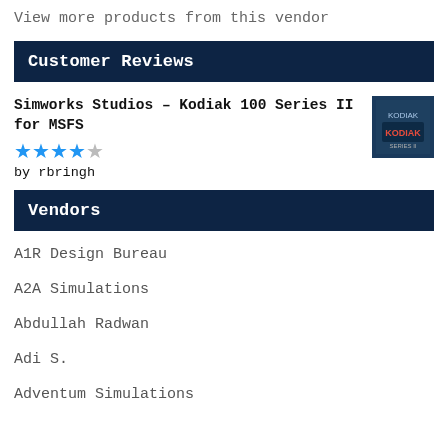View more products from this vendor
Customer Reviews
Simworks Studios - Kodiak 100 Series II for MSFS
[Figure (other): 4 out of 5 stars rating (4 blue stars, 1 grey star)]
by rbringh
Vendors
A1R Design Bureau
A2A Simulations
Abdullah Radwan
Adi S.
Adventum Simulations